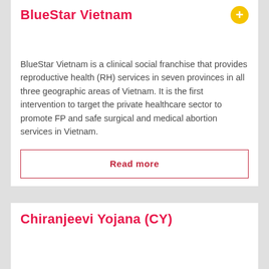BlueStar Vietnam
BlueStar Vietnam is a clinical social franchise that provides reproductive health (RH) services in seven provinces in all three geographic areas of Vietnam. It is the first intervention to target the private healthcare sector to promote FP and safe surgical and medical abortion services in Vietnam.
Read more
Chiranjeevi Yojana (CY)
Chiranjeevi Yojana (CY) was created to significantly reduce maternal and infant mortality by harnessing the existing